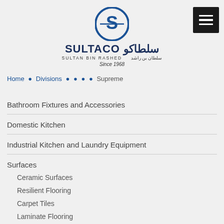[Figure (logo): Sultaco logo with circular S emblem, Arabic and English brand name, Sultan Bin Rashed, Since 1968]
Home • Divisions • • • • Supreme
Bathroom Fixtures and Accessories
Domestic Kitchen
Industrial Kitchen and Laundry Equipment
Surfaces
Ceramic Surfaces
Resilient Flooring
Carpet Tiles
Laminate Flooring